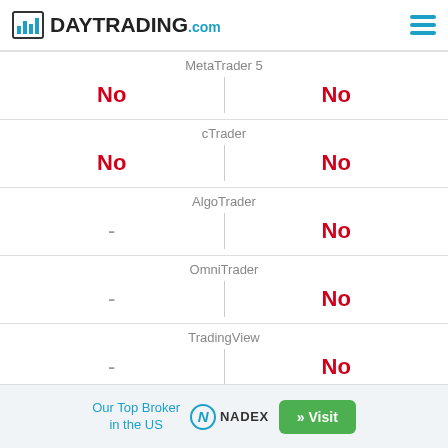DAYTRADING.com
|  |  |
| --- | --- |
| MetaTrader 5 |  |
| No | No |
| cTrader |  |
| No | No |
| AlgoTrader |  |
| - | No |
| OmniTrader |  |
| - | No |
| TradingView |  |
| - | No |
| Autochartist |  |
| - | No |
Our Top Broker in the US  NADEX  » Visit